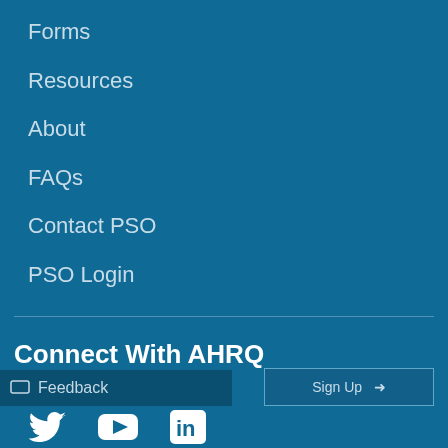Forms
Resources
About
FAQs
Contact PSO
PSO Login
Connect With AHRQ
Feedback
[Figure (other): Social media icons: Twitter bird, YouTube play button, LinkedIn 'in' logo]